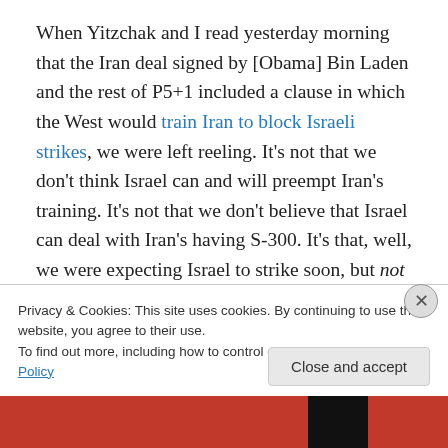When Yitzchak and I read yesterday morning that the Iran deal signed by [Obama] Bin Laden and the rest of P5+1 included a clause in which the West would train Iran to block Israeli strikes, we were left reeling.  It's not that we don't think Israel can and will preempt Iran's training.  It's not that we don't believe that Israel can deal with Iran's having S-300.  It's that, well, we were expecting Israel to strike soon, but not that soon.  We were debating if it would be smarter for Israel to strike now, or to wait to hear
Privacy & Cookies: This site uses cookies. By continuing to use this website, you agree to their use.
To find out more, including how to control cookies, see here: Cookie Policy